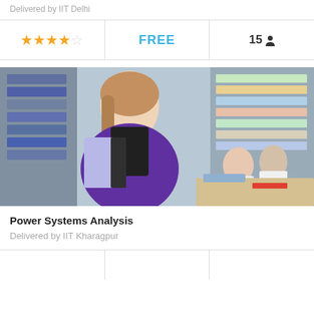Delivered by IIT Delhi
| Rating | Price | Students |
| --- | --- | --- |
| 4 stars | FREE | 15 |
[Figure (photo): A smiling female student holding notebooks in a library, with other students studying in the background]
Power Systems Analysis
Delivered by IIT Kharagpur